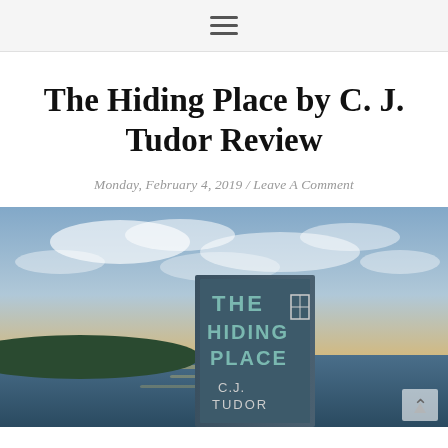≡
The Hiding Place by C. J. Tudor Review
Monday, February 4, 2019 / Leave A Comment
[Figure (photo): A photo of the book 'The Hiding Place' by C.J. Tudor held up against a scenic waterfront sunset sky with clouds. The book cover is visible with the title and author name. Water and a landmass are visible in the background.]